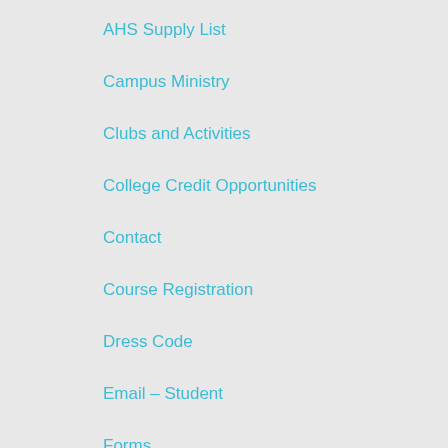AHS Supply List
Campus Ministry
Clubs and Activities
College Credit Opportunities
Contact
Course Registration
Dress Code
Email – Student
Forms